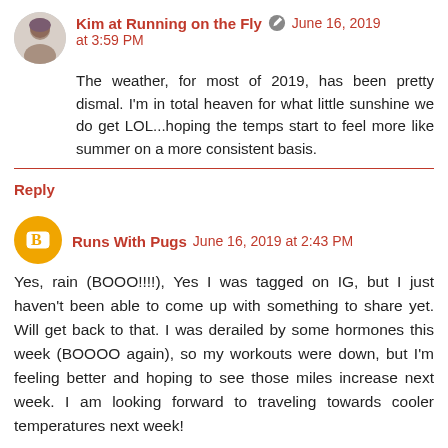Kim at Running on the Fly  June 16, 2019 at 3:59 PM
The weather, for most of 2019, has been pretty dismal. I'm in total heaven for what little sunshine we do get LOL...hoping the temps start to feel more like summer on a more consistent basis.
Reply
Runs With Pugs  June 16, 2019 at 2:43 PM
Yes, rain (BOOO!!!!), Yes I was tagged on IG, but I just haven't been able to come up with something to share yet. Will get back to that. I was derailed by some hormones this week (BOOOO again), so my workouts were down, but I'm feeling better and hoping to see those miles increase next week. I am looking forward to traveling towards cooler temperatures next week!
Reply